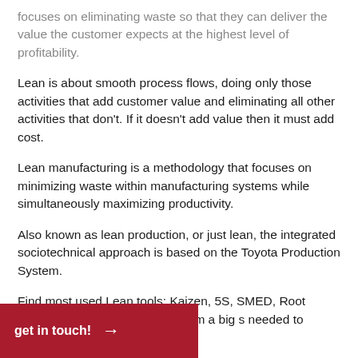focuses on eliminating waste so that they can deliver the value the customer expects at the highest level of profitability.
Lean is about smooth process flows, doing only those activities that add customer value and eliminating all other activities that don't. If it doesn't add value then it must add cost.
Lean manufacturing is a methodology that focuses on minimizing waste within manufacturing systems while simultaneously maximizing productivity.
Also known as lean production, or just lean, the integrated sociotechnical approach is based on the Toyota Production System.
Find most used Lean tools: Kaizen, 5S, SMED, Root Cause … eam Mapping, PDCA, from a big … s needed to reduce waste.